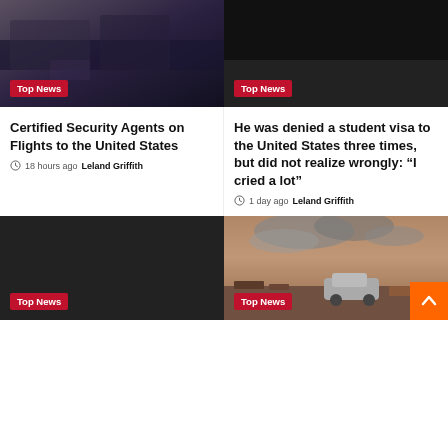[Figure (photo): Dark interior airplane/cinema scene photo with Top News badge]
[Figure (photo): Dark background photo with Top News badge]
Certified Security Agents on Flights to the United States
18 hours ago  Leland Griffith
He was denied a student visa to the United States three times, but did not realize wrongly: “I cried a lot”
1 day ago  Leland Griffith
[Figure (photo): Dark/black image with Top News badge]
[Figure (photo): War/destruction scene with smoke, damaged cars and rubble. Top News badge. Orange back-to-top button.]